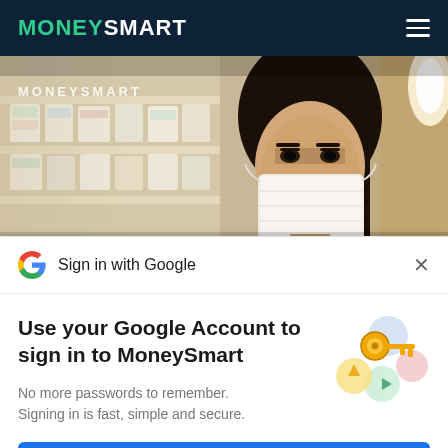MONEYSMART
[Figure (photo): Woman wearing a face mask in a grocery store, looking at shelves with blurred product displays. Text overlay reads 'MONEYSMART'.]
Sign in with Google
Use your Google Account to sign in to MoneySmart
No more passwords to remember.
Signing in is fast, simple and secure.
Continue